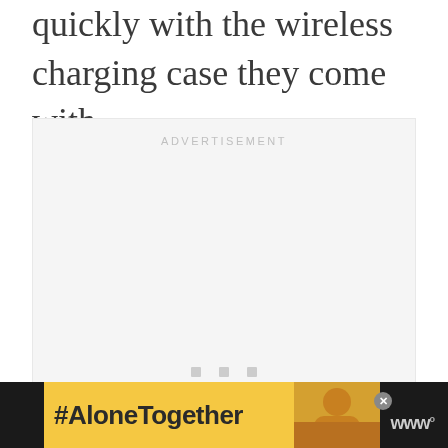quickly with the wireless charging case they come with.
[Figure (other): Advertisement placeholder box with 'ADVERTISEMENT' label and three small grey squares at bottom]
[Figure (other): Bottom banner ad showing '#AloneTogether' text on yellow background with woman image and close button, W logo on black bar]